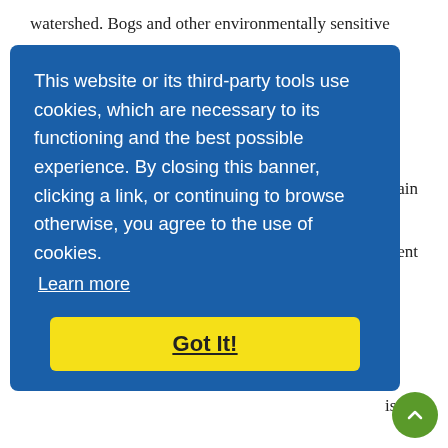watershed. Bogs and other environmentally sensitive
otain ment
[Figure (screenshot): Cookie consent banner with blue background. Text reads: 'This website or its third-party tools use cookies, which are necessary to its functioning and the best possible experience. By closing this banner, clicking a link, or continuing to browse otherwise, you agree to the use of cookies.' With a 'Learn more' link and a yellow 'Got It!' button.]
ision nable years erns, economic opportunities, the need to improve quality of life and, both current and future challenges are matters to be addressed.
“The policies set out in this development plan aim to provide for economic growth but not at the expense of our environment and culture. It is imperative to note that the future decisions though important, may be